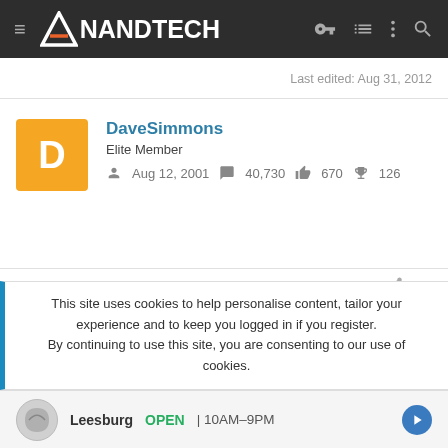AnandTech
Last edited: Aug 31, 2012
DaveSimmons
Elite Member
Aug 12, 2001  40,730  670  126
Aug 31, 2012  #4
I looked at the "I" link and those look like lies to me.

I don't have the hours needed to check all 533 lies.
This site uses cookies to help personalise content, tailor your experience and to keep you logged in if you register.
By continuing to use this site, you are consenting to our use of cookies.
Leesburg  OPEN  10AM–9PM